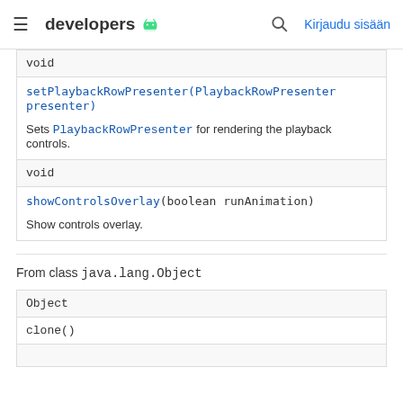developers | Kirjaudu sisään
| void |
| setPlaybackRowPresenter(PlaybackRowPresenter presenter)

Sets PlaybackRowPresenter for rendering the playback controls. |
| void |
| showControlsOverlay(boolean runAnimation)

Show controls overlay. |
From class java.lang.Object
| Object |
| clone() |